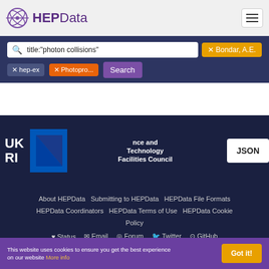[Figure (logo): HEPData logo with circular atom-like icon and purple text]
title:"photon collisions"
✕ Bondar, A.E.
✕ hep-ex
✕ Photopro...
Search
[Figure (logo): UKRI and Science and Technology Facilities Council logos with JSON button]
About HEPData   Submitting to HEPData   HEPData File Formats   HEPData Coordinators   HEPData Terms of Use   HEPData Cookie Policy
♥ Status   ✉ Email   ⬤ Forum   🐦 Twitter   GitHub
Copyright ~1975-Present, HEPData | Powered by Invenio, funded by STFC, hosted and originally developed at CERN, supported and further developed at IPPP Durham
This website uses cookies to ensure you get the best experience on our website More info
Got it!